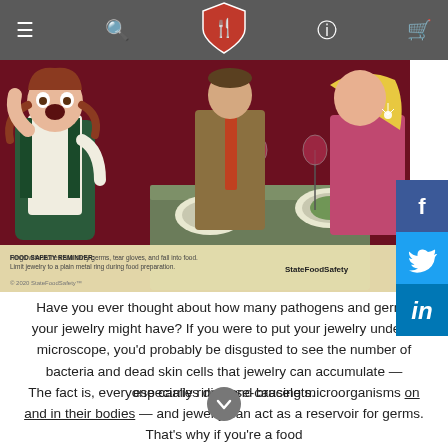StateFoodSafety navigation bar with menu, search, logo, help, and cart icons
[Figure (illustration): Illustrated scene of a distressed waitress looking at her hand/ring while two restaurant guests (a man in a suit and a blonde woman) sit at a dining table. Food Safety Reminder text at bottom: 'Rings with stones can carry germs, tear gloves, and fall into food. Limit jewelry to a plain metal ring during food preparation.' StateFoodSafety logo visible. © 2020 StateFoodSafety.]
Have you ever thought about how many pathogens and germs your jewelry might have? If you were to put your jewelry under a microscope, you'd probably be disgusted to see the number of bacteria and dead skin cells that jewelry can accumulate — especially rings and bracelets.
The fact is, everyone carries disease-causing microorganisms on and in their bodies — and jewelry can act as a reservoir for germs. That's why if you're a food